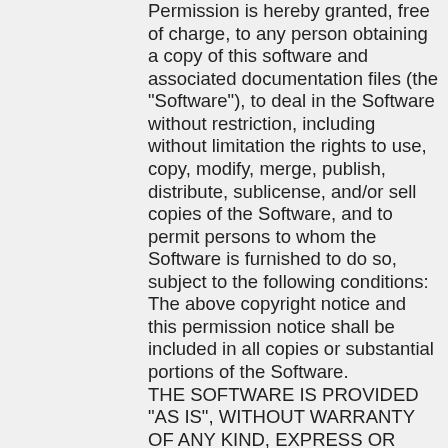Permission is hereby granted, free of charge, to any person obtaining a copy of this software and associated documentation files (the "Software"), to deal in the Software without restriction, including without limitation the rights to use, copy, modify, merge, publish, distribute, sublicense, and/or sell copies of the Software, and to permit persons to whom the Software is furnished to do so, subject to the following conditions:
The above copyright notice and this permission notice shall be included in all copies or substantial portions of the Software.
THE SOFTWARE IS PROVIDED "AS IS", WITHOUT WARRANTY OF ANY KIND, EXPRESS OR IMPLIED, INCLUDING BUT NOT LIMITED TO THE WARRANTIES OF MERCHANTABILITY, FITNESS FOR A PARTICULAR PURPOSE AND NONINFRINGEMENT. IN NO EVENT SHALL THE AUTHORS OR COPYRIGHT HOLDERS BE LIABLE FOR ANY CLAIM, DAMAGES OR OTHER LIABILITY, WHETHER IN AN ACTION OF CONTRACT, TORT OR OTHERWISE, ARISING FROM,